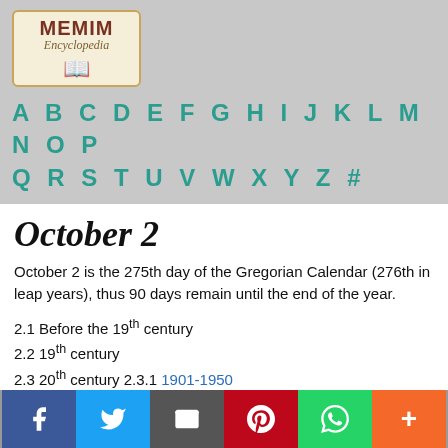[Figure (logo): MEMIM Encyclopedia logo with open book icon]
A B C D E F G H I J K L M N O P Q R S T U V W X Y Z #
October 2
October 2 is the 275th day of the Gregorian Calendar (276th in leap years), thus 90 days remain until the end of the year.
2.1 Before the 19th century
2.2 19th century
2.3 20th century 2.3.1 1901-1950